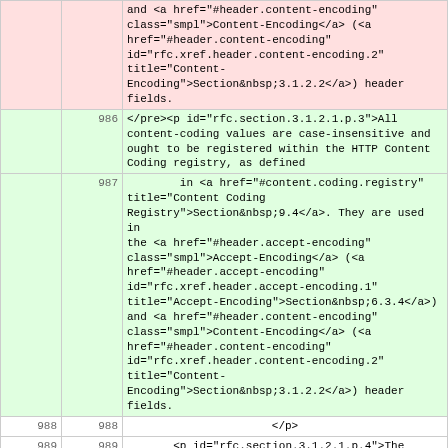| col-a | col-b | content |
| --- | --- | --- |
|  |  | and <a href="#header.content-encoding" class="smpl">Content-Encoding</a> (<a href="#header.content-encoding" id="rfc.xref.header.content-encoding.2" title="Content-Encoding">Section&nbsp;3.1.2.2</a>) header fields. |
|  | 986 | </pre><p id="rfc.section.3.1.2.1.p.3">All content-coding values are case-insensitive and ought to be registered within the HTTP Content Coding registry, as defined |
|  | 987 |         in <a href="#content.coding.registry" title="Content Coding Registry">Section&nbsp;9.4</a>. They are used in the <a href="#header.accept-encoding" class="smpl">Accept-Encoding</a> (<a href="#header.accept-encoding" id="rfc.xref.header.accept-encoding.1" title="Accept-Encoding">Section&nbsp;6.3.4</a>) and <a href="#header.content-encoding" class="smpl">Content-Encoding</a> (<a href="#header.content-encoding" id="rfc.xref.header.content-encoding.2" title="Content-Encoding">Section&nbsp;3.1.2.2</a>) header fields. |
| 988 | 988 | </p> |
| 989 | 989 |         <p id="rfc.section.3.1.2.1.p.4">The following content-coding values are defined by this specification: </p> |
| .... | .... |  |
| 1355 | 1355 |         <p id="rfc.section.5.1.p.6">The methods GET and HEAD <em class="bcp14">MUST</em> be supported by all general-purpose servers. All other methods are <em class="bcp14">OPTIONAL</em>. When implemented, a server <em class="bcp14">MUST</em> |